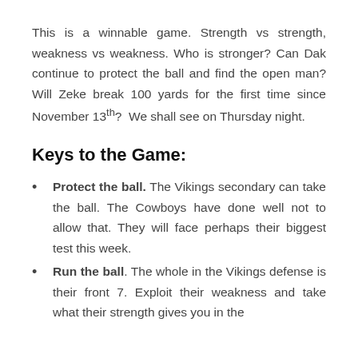This is a winnable game. Strength vs strength, weakness vs weakness. Who is stronger? Can Dak continue to protect the ball and find the open man? Will Zeke break 100 yards for the first time since November 13th? We shall see on Thursday night.
Keys to the Game:
Protect the ball. The Vikings secondary can take the ball. The Cowboys have done well not to allow that. They will face perhaps their biggest test this week.
Run the ball. The whole in the Vikings defense is their front 7. Exploit their weakness and take what their strength gives you in the